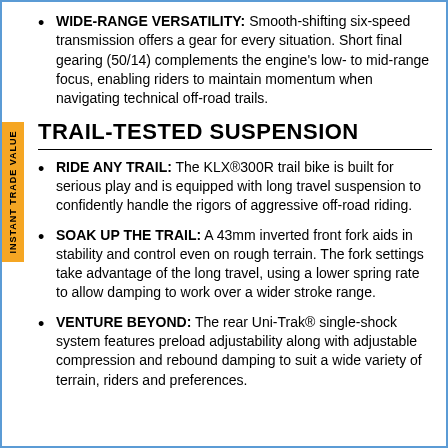WIDE-RANGE VERSATILITY: Smooth-shifting six-speed transmission offers a gear for every situation. Short final gearing (50/14) complements the engine's low- to mid-range focus, enabling riders to maintain momentum when navigating technical off-road trails.
TRAIL-TESTED SUSPENSION
RIDE ANY TRAIL: The KLX®300R trail bike is built for serious play and is equipped with long travel suspension to confidently handle the rigors of aggressive off-road riding.
SOAK UP THE TRAIL: A 43mm inverted front fork aids in stability and control even on rough terrain. The fork settings take advantage of the long travel, using a lower spring rate to allow damping to work over a wider stroke range.
VENTURE BEYOND: The rear Uni-Trak® single-shock system features preload adjustability along with adjustable compression and rebound damping to suit a wide variety of terrain, riders and preferences.